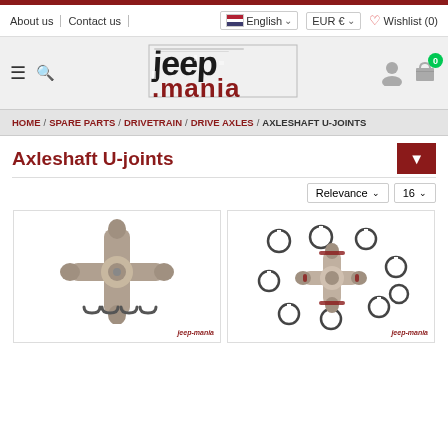About us | Contact us | English | EUR € | Wishlist (0)
[Figure (logo): jeep-mania logo in distressed black and red text]
HOME / SPARE PARTS / DRIVETRAIN / DRIVE AXLES / AXLESHAFT U-JOINTS
Axleshaft U-joints
Relevance  16
[Figure (photo): U-joint cross assembly with snap rings]
[Figure (photo): U-joint cross assembly with multiple snap rings spread around]